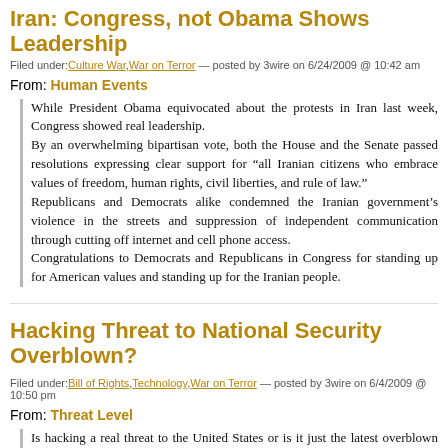Iran: Congress, not Obama Shows Leadership
Filed under: Culture War, War on Terror — posted by 3wire on 6/24/2009 @ 10:42 am
From: Human Events
While President Obama equivocated about the protests in Iran last week, Congress showed real leadership.
By an overwhelming bipartisan vote, both the House and the Senate passed resolutions expressing clear support for “all Iranian citizens who embrace values of freedom, human rights, civil liberties, and rule of law.”
Republicans and Democrats alike condemned the Iranian government’s violence in the streets and suppression of independent communication through cutting off internet and cell phone access.
Congratulations to Democrats and Republicans in Congress for standing up for American values and standing up for the Iranian people.
Hacking Threat to National Security Overblown?
Filed under: Bill of Rights, Technology, War on Terror — posted by 3wire on 6/4/2009 @ 10:50 pm
From: Threat Level
Is hacking a real threat to the United States or is it just the latest overblown threat to national security, whose magnitude is being exaggerated to expand government budgets and power?
That’s the question asked by Threat Level editor Kevin Poulsen at a panel Computers, Freedom and Privacy in Washington, D.C., Wednesday. And it’s important because the government is spending billions of dollars on comp...